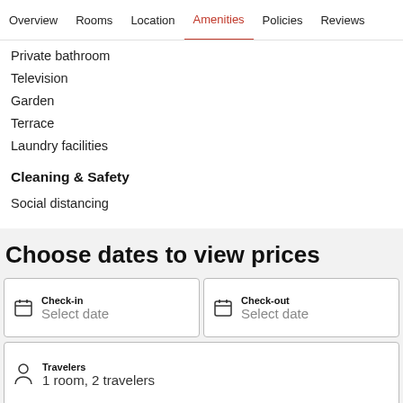Overview  Rooms  Location  Amenities  Policies  Reviews
Private bathroom
Television
Garden
Terrace
Laundry facilities
Cleaning & Safety
Social distancing
Choose dates to view prices
Check-in
Select date
Check-out
Select date
Travelers
1 room, 2 travelers